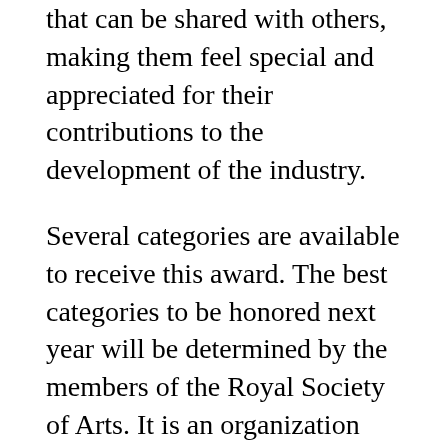that can be shared with others, making them feel special and appreciated for their contributions to the development of the industry.
Several categories are available to receive this award. The best categories to be honored next year will be determined by the members of the Royal Society of Arts. It is an organization with a long history when it comes to honoring different types of recipients. These types of awards have been given to some of the most creative people in the tech world. These include those who are considered industry leaders, innovators and exceptional designers. He also went to some